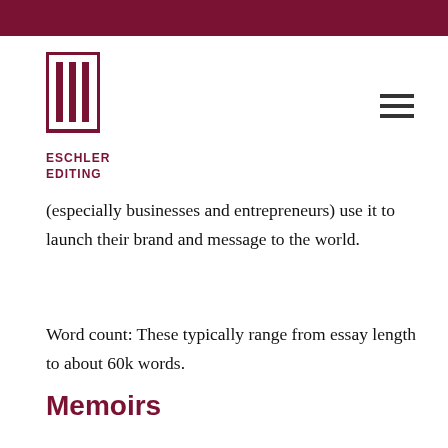[Figure (logo): Eschler Editing logo with vertical bar icon and text]
(especially businesses and entrepreneurs) use it to launch their brand and message to the world.
Word count: These typically range from essay length to about 60k words.
Memoirs